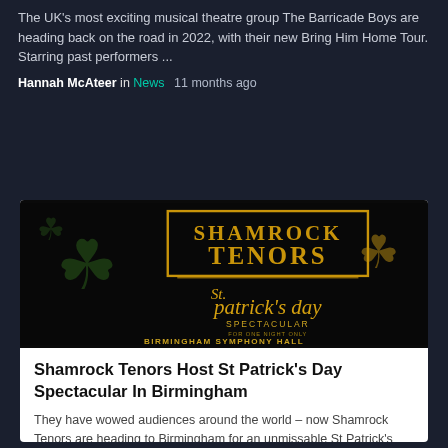The UK's most exciting musical theatre group The Barricade Boys are heading back on the road in 2022, with their new Bring Him Home Tour. Starring past performers ...
Hannah McAteer in News   11 months ago
[Figure (photo): Shamrock Tenors St. Patrick's Day Spectacular Birmingham Symphony Hall promotional image with gold decorative lettering on black background]
Shamrock Tenors Host St Patrick's Day Spectacular In Birmingham
They have wowed audiences around the world – now Shamrock Tenors are heading to Birmingham for an unmissable St Patrick's Day celebration. Northern Ireland's premier folk and vocal ...
Hannah McAteer in News   11 months ago